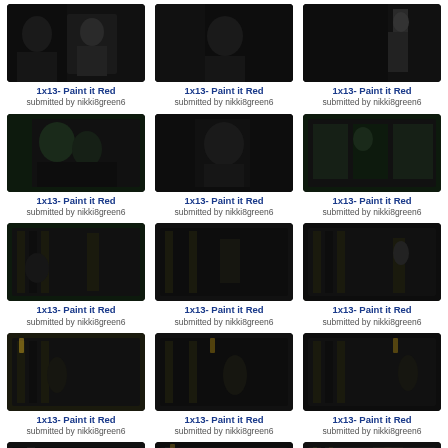[Figure (screenshot): Dark TV show screenshot - 1x13 Paint it Red]
1x13- Paint it Red
submitted by nikki8green6
[Figure (screenshot): Dark TV show screenshot - 1x13 Paint it Red]
1x13- Paint it Red
submitted by nikki8green6
[Figure (screenshot): Dark TV show screenshot - 1x13 Paint it Red]
1x13- Paint it Red
submitted by nikki8green6
[Figure (screenshot): Dark TV show screenshot - 1x13 Paint it Red]
1x13- Paint it Red
submitted by nikki8green6
[Figure (screenshot): Dark TV show screenshot - 1x13 Paint it Red]
1x13- Paint it Red
submitted by nikki8green6
[Figure (screenshot): Dark TV show screenshot - 1x13 Paint it Red]
1x13- Paint it Red
submitted by nikki8green6
[Figure (screenshot): Dark TV show screenshot - 1x13 Paint it Red]
1x13- Paint it Red
submitted by nikki8green6
[Figure (screenshot): Dark TV show screenshot - 1x13 Paint it Red]
1x13- Paint it Red
submitted by nikki8green6
[Figure (screenshot): Dark TV show screenshot - 1x13 Paint it Red]
1x13- Paint it Red
submitted by nikki8green6
[Figure (screenshot): Dark TV show screenshot - 1x13 Paint it Red]
1x13- Paint it Red
submitted by nikki8green6
[Figure (screenshot): Dark TV show screenshot - 1x13 Paint it Red]
1x13- Paint it Red
submitted by nikki8green6
[Figure (screenshot): Dark TV show screenshot - 1x13 Paint it Red]
1x13- Paint it Red
submitted by nikki8green6
[Figure (screenshot): Dark TV show screenshot row 5 col 1]
[Figure (screenshot): Dark TV show screenshot row 5 col 2]
[Figure (screenshot): Dark TV show screenshot row 5 col 3]